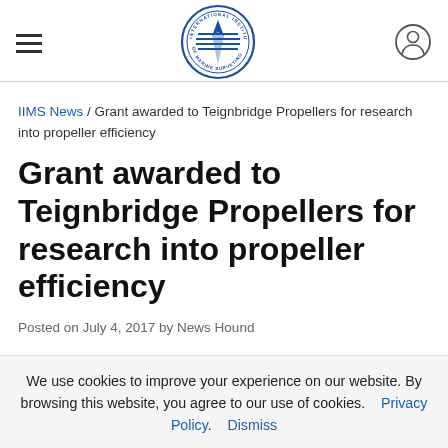[Figure (logo): International Institute of Marine Surveying circular logo with blue text and compass/wave graphic]
IIMS News / Grant awarded to Teignbridge Propellers for research into propeller efficiency
Grant awarded to Teignbridge Propellers for research into propeller efficiency
Posted on July 4, 2017 by News Hound
We use cookies to improve your experience on our website. By browsing this website, you agree to our use of cookies. Privacy Policy. Dismiss